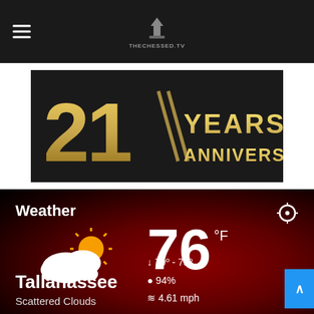TheChessed.tv navigation header with hamburger menu and logo
[Figure (illustration): 21 Years Anniversary gold text on dark background]
Weather
[Figure (infographic): Partly cloudy with sun weather icon]
76 °F
Tallahassee
Scattered Clouds
79º - 75º  94%  4.61 mph